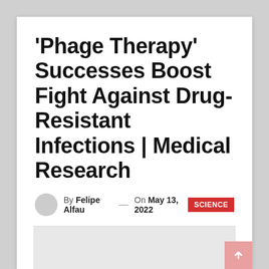‘Phage Therapy’ Successes Boost Fight Against Drug-Resistant Infections | Medical Research
By Felipe Alfau — On May 13, 2022
[Figure (photo): Gray placeholder image area below the byline]